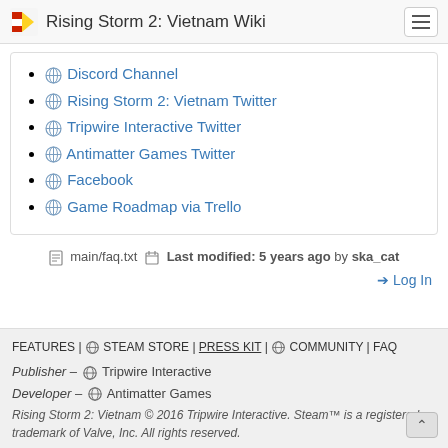Rising Storm 2: Vietnam Wiki
Discord Channel
Rising Storm 2: Vietnam Twitter
Tripwire Interactive Twitter
Antimatter Games Twitter
Facebook
Game Roadmap via Trello
main/faq.txt   Last modified: 5 years ago by ska_cat
➡ Log In
FEATURES | 🌐 STEAM STORE | PRESS KIT | 🌐 COMMUNITY | FAQ
Publisher – 🌐 Tripwire Interactive
Developer – 🌐 Antimatter Games
Rising Storm 2: Vietnam © 2016 Tripwire Interactive. Steam™ is a registered trademark of Valve, Inc. All rights reserved.